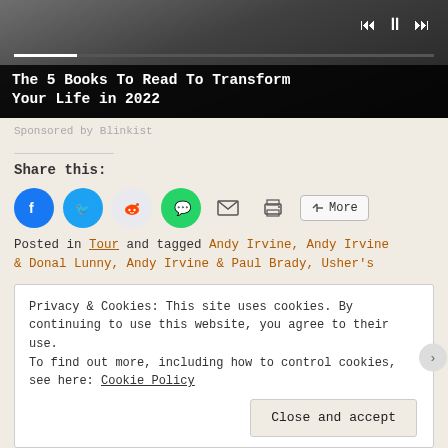[Figure (screenshot): Media player with dark background showing animal photo, playback controls (previous, pause, next), progress bar, and title overlay 'The 5 Books To Read To Transform Your Life in 2022']
Sponsored by Blinkist
Share this:
[Figure (infographic): Share buttons: Facebook (blue circle), Twitter (blue circle), Reddit (light circle), WhatsApp (green circle), Email (envelope icon), Print (printer icon), More button]
Posted in Tour and tagged Andy Irvine, Andy Irvine & Donal Lunny, Andy Irvine & Paul Brady, Usher's
Privacy & Cookies: This site uses cookies. By continuing to use this website, you agree to their use. To find out more, including how to control cookies, see here: Cookie Policy
Close and accept